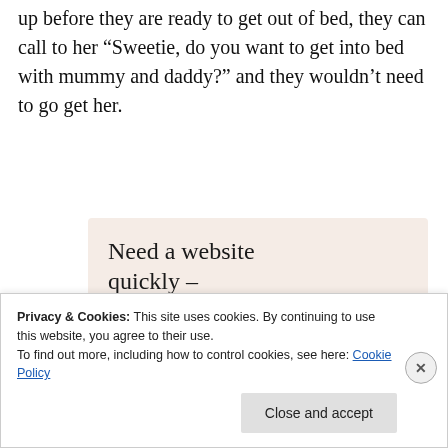up before they are ready to get out of bed, they can call to her “Sweetie, do you want to get into bed with mummy and daddy?” and they wouldn’t need to go get her.
[Figure (infographic): Advertisement with beige/pink background. Headline: 'Need a website quickly – and on a budget?' Subtext: 'Let us build it for you'. Button: 'Let’s get started'. Circular image of person typing on a laptop.]
Privacy & Cookies: This site uses cookies. By continuing to use this website, you agree to their use.
To find out more, including how to control cookies, see here: Cookie Policy
Close and accept